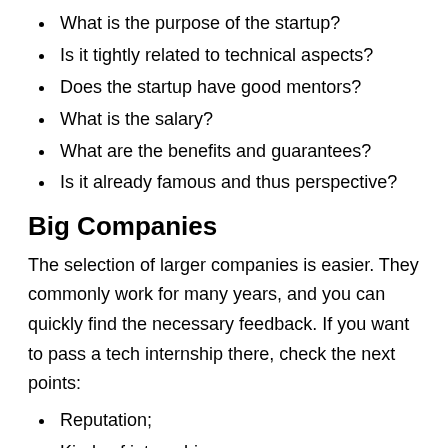What is the purpose of the startup?
Is it tightly related to technical aspects?
Does the startup have good mentors?
What is the salary?
What are the benefits and guarantees?
Is it already famous and thus perspective?
Big Companies
The selection of larger companies is easier. They commonly work for many years, and you can quickly find the necessary feedback. If you want to pass a tech internship there, check the next points:
Reputation;
Kinds of internships;
Anonymous feedback of employees of the company;